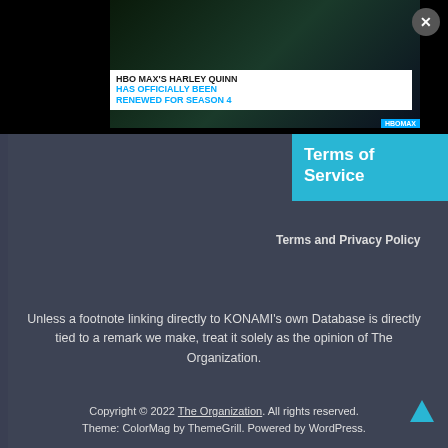[Figure (screenshot): HBO Max Harley Quinn Season 4 renewal advertisement banner with cartoon characters and blue text overlay]
Terms of Service
Terms and Privacy Policy
Unless a footnote linking directly to KONAMI's own Database is directly tied to a remark we make, treat it solely as the opinion of The Organization.
Copyright © 2022 The Organization. All rights reserved. Theme: ColorMag by ThemeGrill. Powered by WordPress.